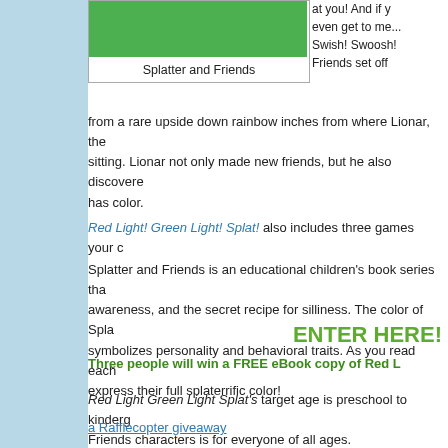[Figure (illustration): Green book cover image for 'Splatter and Friends']
Splatter and Friends
at you! And if you even get to me... Swish! Swoosh! Friends set off from a rare upside down rainbow inches from where Lionar, the sitting. Lionar not only made new friends, but he also discovered has color.
Red Light! Green Light! Splat! also includes three games your c
Splatter and Friends is an educational children's book series tha awareness, and the secret recipe for silliness. The color of Spla symbolizes personality and behavioral traits. As you read each express their full splaterrific color!
Red Light Green Light Splat's target age is preschool to kinderg Friends characters is for everyone of all ages.
ENTER HERE!
Three people will win a FREE eBook copy of Red L
a Rafflecopter giveaway